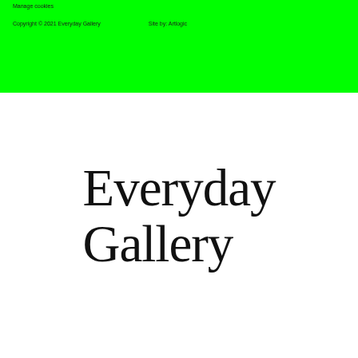Manage cookies
Copyright © 2021 Everyday Gallery     Site by: Artlogic
[Figure (logo): Everyday Gallery wordmark logo in large serif font on white background]